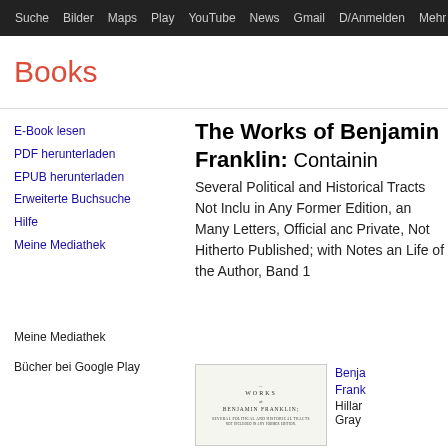Suche Bilder Maps Play YouTube News Gmail D/Anmelden Mehr ⚙
Books
E-Book lesen
PDF herunterladen
EPUB herunterladen
Erweiterte Buchsuche
Hilfe
Meine Mediathek
Meine Mediathek
Bücher bei Google Play
The Works of Benjamin Franklin: Containing Several Political and Historical Tracts Not Included in Any Former Edition, and Many Letters, Official and Private, Not Hitherto Published; with Notes and Life of the Author, Band 1
[Figure (photo): Book cover image showing 'Works of Benjamin Franklin' title page in old typeset style]
Benja Frank
Hillar Gray